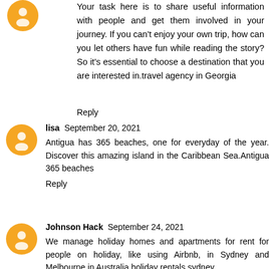Your task here is to share useful information with people and get them involved in your journey. If you can't enjoy your own trip, how can you let others have fun while reading the story? So it's essential to choose a destination that you are interested in.travel agency in Georgia
Reply
lisa  September 20, 2021
Antigua has 365 beaches, one for everyday of the year. Discover this amazing island in the Caribbean Sea.Antigua 365 beaches
Reply
Johnson Hack  September 24, 2021
We manage holiday homes and apartments for rent for people on holiday, like using Airbnb, in Sydney and Melbourne in Australia holiday rentals sydney